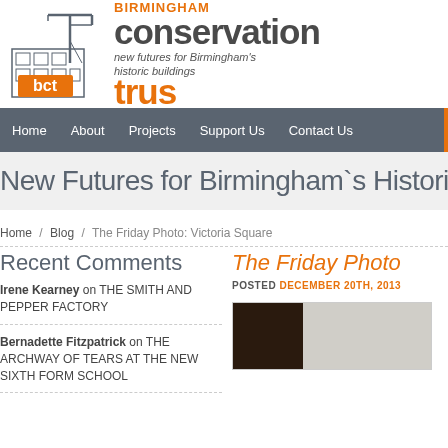[Figure (logo): Birmingham Conservation Trust logo with building illustration and 'bct' letters in orange]
BIRMINGHAM conservation trust — new futures for Birmingham's historic buildings
Home  About  Projects  Support Us  Contact Us
New Futures for Birmingham's Historic Bu
Home / Blog / The Friday Photo: Victoria Square
Recent Comments
Irene Kearney on THE SMITH AND PEPPER FACTORY
Bernadette Fitzpatrick on THE ARCHWAY OF TEARS AT THE NEW SIXTH FORM SCHOOL
The Friday Photo
POSTED DECEMBER 20TH, 2013
[Figure (photo): Dark photograph preview of Victoria Square Friday Photo]